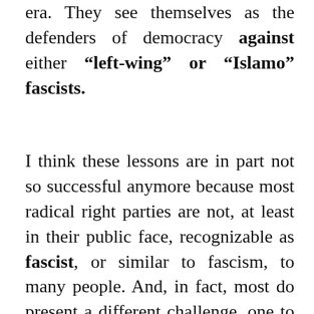era. They see themselves as the defenders of democracy against either “left-wing” or “Islamo” fascists.
I think these lessons are in part not so successful anymore because most radical right parties are not, at least in their public face, recognizable as fascist, or similar to fascism, to many people. And, in fact, most do present a different challenge, one to liberal democracy rather than democracy per se. They don’t oppose majority rule but minority rights. Comparing them to openly anti-